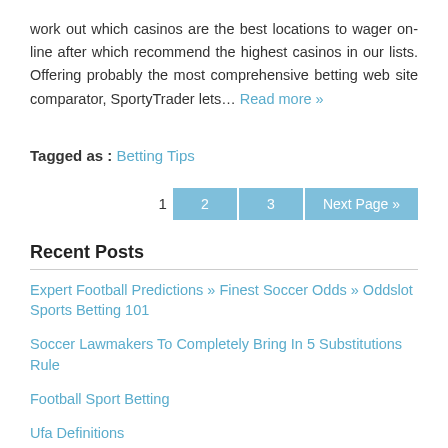work out which casinos are the best locations to wager on-line after which recommend the highest casinos in our lists. Offering probably the most comprehensive betting web site comparator, SportyTrader lets… Read more »
Tagged as : Betting Tips
1  2  3  Next Page »
Recent Posts
Expert Football Predictions » Finest Soccer Odds » Oddslot Sports Betting 101
Soccer Lawmakers To Completely Bring In 5 Substitutions Rule
Football Sport Betting
Ufa Definitions